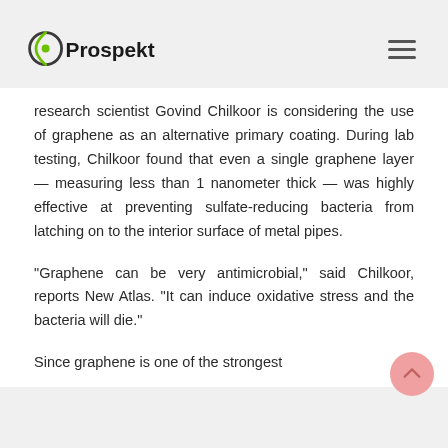Prospekt
research scientist Govind Chilkoor is considering the use of graphene as an alternative primary coating. During lab testing, Chilkoor found that even a single graphene layer — measuring less than 1 nanometer thick — was highly effective at preventing sulfate-reducing bacteria from latching on to the interior surface of metal pipes.
"Graphene can be very antimicrobial," said Chilkoor, reports New Atlas. "It can induce oxidative stress and the bacteria will die."
Since graphene is one of the strongest